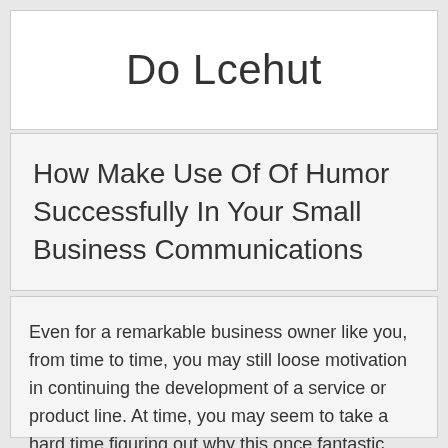Do Lcehut
How Make Use Of Of Humor Successfully In Your Small Business Communications
Even for a remarkable business owner like you, from time to time, you may still loose motivation in continuing the development of a service or product line. At time, you may seem to take a hard time figuring out why this once fantastic business that got you so excited every morning is making you feel a heavy weight this time.